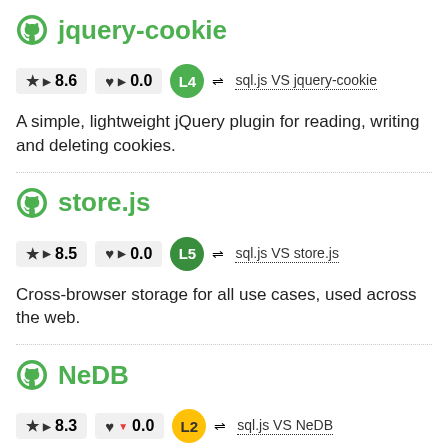jquery-cookie
★ ▶ 8.6   ♥ ▶ 0.0   L4   ⇌ sql.js VS jquery-cookie
A simple, lightweight jQuery plugin for reading, writing and deleting cookies.
store.js
★ ▶ 8.5   ♥ ▶ 0.0   L5   ⇌ sql.js VS store.js
Cross-browser storage for all use cases, used across the web.
NeDB
★ ▶ 8.3   ♥ ▼ 0.0   L2   ⇌ sql.js VS NeDB
The JavaScript Database, for Node.js, nw.js, electron and the browser.